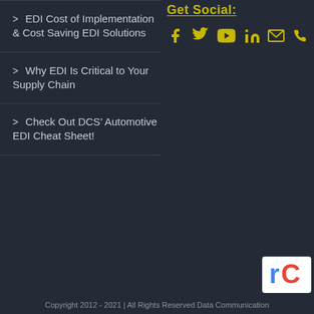EDI Cost of Implementation & Cost Saving EDI Solutions
Why EDI Is Critical to Your Supply Chain
Check Out DCS' Automotive EDI Cheat Sheet!
Get Social:
[Figure (infographic): Social media icons: Facebook, Twitter, YouTube, LinkedIn, Email, Phone in yellow/gold color]
[Figure (infographic): reCAPTCHA badge in bottom-right corner]
Copyright 2012 - 2021 | All Rights Reserved Data Communication